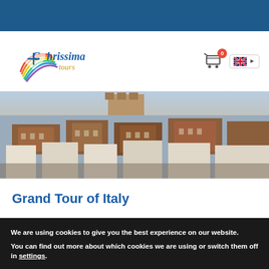[Figure (logo): Chrissima Tours logo with colorful swoosh and text]
[Figure (photo): Panoramic view of an Italian city skyline with terracotta rooftops and historic buildings]
Grand Tour of Italy
We are using cookies to give you the best experience on our website.
You can find out more about which cookies we are using or switch them off in settings.
Accept | Reject | Settings